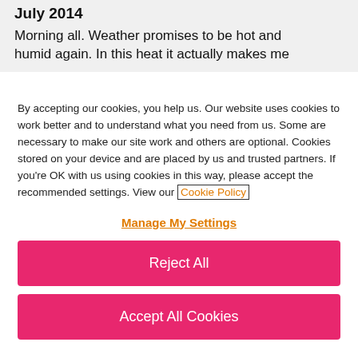July 2014
Morning all. Weather promises to be hot and humid again. In this heat it actually makes me
By accepting our cookies, you help us. Our website uses cookies to work better and to understand what you need from us. Some are necessary to make our site work and others are optional. Cookies stored on your device and are placed by us and trusted partners. If you're OK with us using cookies in this way, please accept the recommended settings. View our Cookie Policy
Manage My Settings
Reject All
Accept All Cookies